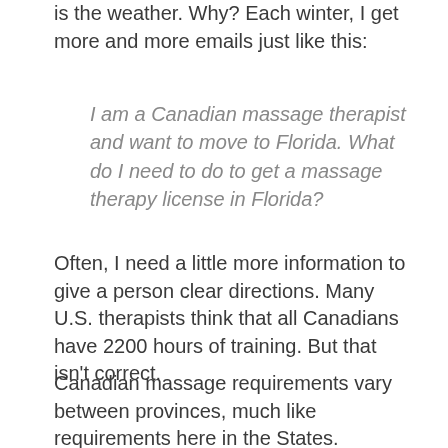is the weather. Why? Each winter, I get more and more emails just like this:
I am a Canadian massage therapist and want to move to Florida. What do I need to do to get a massage therapy license in Florida?
Often, I need a little more information to give a person clear directions. Many U.S. therapists think that all Canadians have 2200 hours of training. But that isn't correct.
Canadian massage requirements vary between provinces, much like requirements here in the States. Currently, only four provinces regulate massage therapy on a provincial level. If massage therapy is not regulated by the provincial government, there is